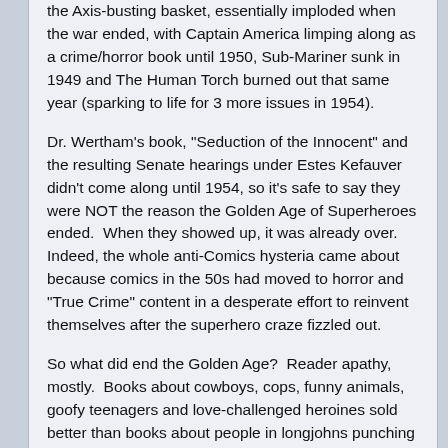the Axis-busting basket, essentially imploded when the war ended, with Captain America limping along as a crime/horror book until 1950, Sub-Mariner sunk in 1949 and The Human Torch burned out that same year (sparking to life for 3 more issues in 1954).
Dr. Wertham's book, "Seduction of the Innocent" and the resulting Senate hearings under Estes Kefauver didn't come along until 1954, so it's safe to say they were NOT the reason the Golden Age of Superheroes ended.  When they showed up, it was already over. Indeed, the whole anti-Comics hysteria came about because comics in the 50s had moved to horror and "True Crime" content in a desperate effort to reinvent themselves after the superhero craze fizzled out.
So what did end the Golden Age?  Reader apathy, mostly.  Books about cowboys, cops, funny animals, goofy teenagers and love-challenged heroines sold better than books about people in longjohns punching each other in the face.  The industry adapted.  Also television came along, and not too long after that paperback novels and other entertainments that ate into the comics audience.
The only characters to survive were DC's "Big